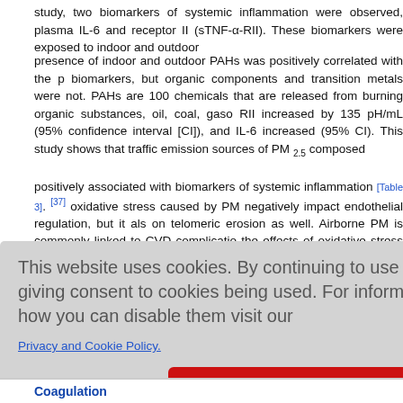study, two biomarkers of systemic inflammation were observed, plasma IL-6 and receptor II (sTNF-α-RII). These biomarkers were exposed to indoor and outdoor
presence of indoor and outdoor PAHs was positively correlated with the biomarkers, but organic components and transition metals were not. PAHs are 100 chemicals that are released from burning organic substances, oil, coal, gaso RII increased by 135 pH/mL (95% confidence interval [CI]), and IL-6 increased (95% CI). This study shows that traffic emission sources of PM 2.5 composed
positively associated with biomarkers of systemic inflammation [Table 3]. [37] oxidative stress caused by PM negatively impact endothelial regulation, but it also on telomeric erosion as well. Airborne PM is commonly linked to CVD complication the effects of oxidative stress on the body, and the accelerated shortening of tele
morbidity. T CVD. The stu and accele d mortality. r deleterious
This website uses cookies. By continuing to use this website you are giving consent to cookies being used. For information on cookies and how you can disable them visit our
Privacy and Cookie Policy.
AGREE & PROCEED
Coagulation